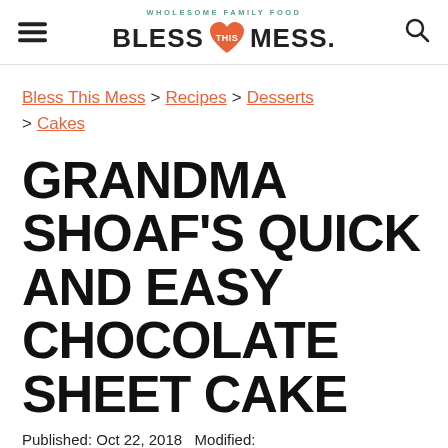WHOLESOME FAMILY FOOD — BLESS THIS MESS.
Bless This Mess > Recipes > Desserts > Cakes
GRANDMA SHOAF'S QUICK AND EASY CHOCOLATE SHEET CAKE
Published: Oct 22, 2018  Modified: